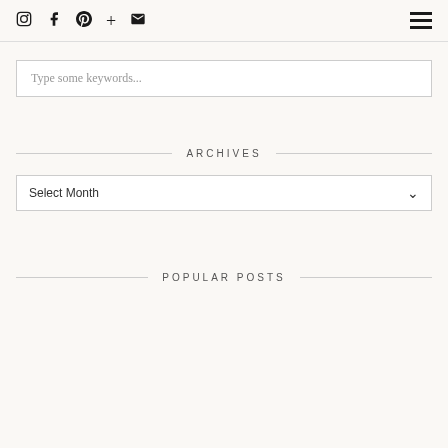Social icons navigation bar with Instagram, Facebook, Pinterest, Plus, Email icons and hamburger menu
Type some keywords...
ARCHIVES
Select Month
POPULAR POSTS